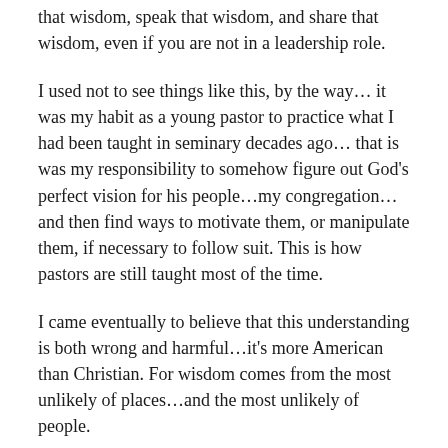that wisdom, speak that wisdom, and share that wisdom, even if you are not in a leadership role.
I used not to see things like this, by the way… it was my habit as a young pastor to practice what I had been taught in seminary decades ago… that is was my responsibility to somehow figure out God's perfect vision for his people…my congregation…and then find ways to motivate them, or manipulate them, if necessary to follow suit. This is how pastors are still taught most of the time.
I came eventually to believe that this understanding is both wrong and harmful…it's more American than Christian. For wisdom comes from the most unlikely of places…and the most unlikely of people.
In fact, it's one of the major biblical themes….when Balaam, a prophet of God who should have been able to hear the wisdom of